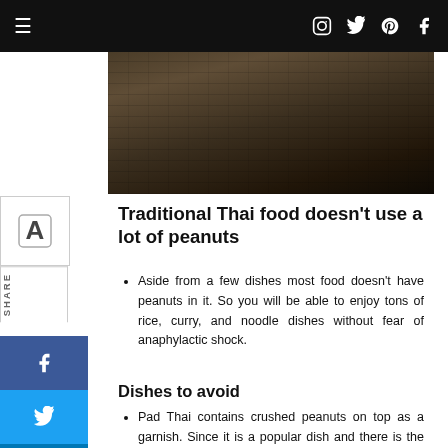≡  [navigation icons]
[Figure (photo): Dark textured background photo, appears to be a brick or stone wall in dim lighting]
Traditional Thai food doesn't use a lot of peanuts
Aside from a few dishes most food doesn't have peanuts in it. So you will be able to enjoy tons of rice, curry, and noodle dishes without fear of anaphylactic shock.
Dishes to avoid
Pad Thai contains crushed peanuts on top as a garnish. Since it is a popular dish and there is the issue of allergies some restaurants will not add the peanuts, rather they will be in a condiment dish on